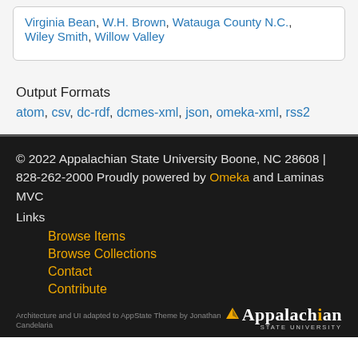Virginia Bean, W.H. Brown, Watauga County N.C., Wiley Smith, Willow Valley
Output Formats
atom, csv, dc-rdf, dcmes-xml, json, omeka-xml, rss2
© 2022 Appalachian State University Boone, NC 28608 | 828-262-2000 Proudly powered by Omeka and Laminas MVC
Links
Browse Items
Browse Collections
Contact
Contribute
Architecture and UI adapted to AppState Theme by Jonathan Candelaria